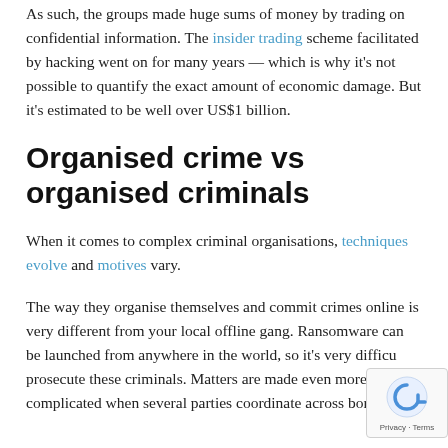As such, the groups made huge sums of money by trading on confidential information. The insider trading scheme facilitated by hacking went on for many years — which is why it's not possible to quantify the exact amount of economic damage. But it's estimated to be well over US$1 billion.
Organised crime vs organised criminals
When it comes to complex criminal organisations, techniques evolve and motives vary.
The way they organise themselves and commit crimes online is very different from your local offline gang. Ransomware can be launched from anywhere in the world, so it's very difficult to prosecute these criminals. Matters are made even more complicated when several parties coordinate across borders.